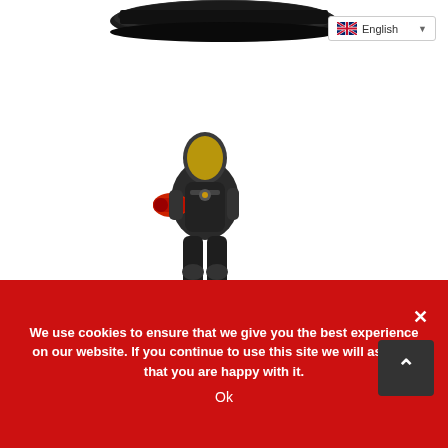[Figure (photo): A language selector dropdown in the top-right corner showing English with a US/UK flag icon and a dropdown arrow]
[Figure (photo): A black circular platform/base disk at the top of the page, product display base]
[Figure (photo): A collectible action figure in dark armor/suit with a gold helmet and red weapon/accessory, posed in action stance on white background]
We use cookies to ensure that we give you the best experience on our website. If you continue to use this site we will assume that you are happy with it.
Ok